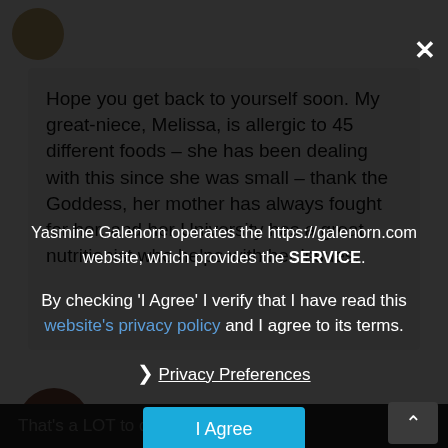[Figure (photo): Partial circular logo/avatar at top left]
Hope you get back to yourself soon. My great-niece, Melissa, is allergic to 45 different foods – she has been dealing with this since she was small – thank the Goddess, her mother has always fought for her, and her University has a great nutritionist who helps with her issues.
Yasmine Galenorn operates the https://galenorn.com website, which provides the SERVICE.
By checking 'I Agree' I verify that I have read this website's privacy policy and I agree to its terms.
❯ Privacy Preferences
I Agree
That's a LOT to de… feel for her.